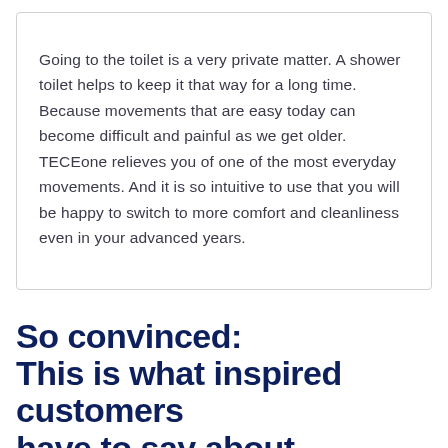Going to the toilet is a very private matter. A shower toilet helps to keep it that way for a long time. Because movements that are easy today can become difficult and painful as we get older. TECEone relieves you of one of the most everyday movements. And it is so intuitive to use that you will be happy to switch to more comfort and cleanliness even in your advanced years.
So convinced: This is what inspired customers have to say about TECEone.
[Figure (photo): Three portrait photos of customers shown from the shoulders/head up, cropped at bottom of frame]